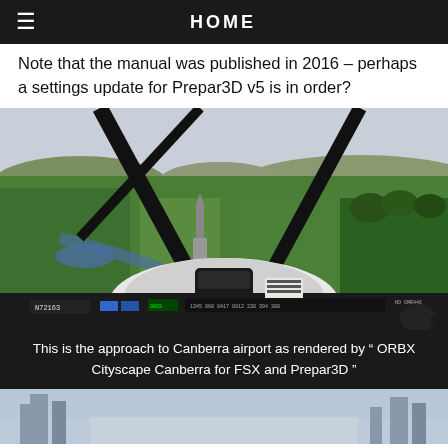HOME
Note that the manual was published in 2016 – perhaps a settings update for Prepar3D v5 is in order?
[Figure (photo): Flight simulator cockpit view showing approach to Canberra airport, green fields and runway visible ahead through windscreen, aircraft panel instruments visible at bottom]
This is the approach to Canberra airport as rendered by " ORBX Cityscape Canberra for FSX and Prepar3D "
[Figure (photo): Partial view of another flight simulator screenshot showing city buildings and sky at bottom of page]